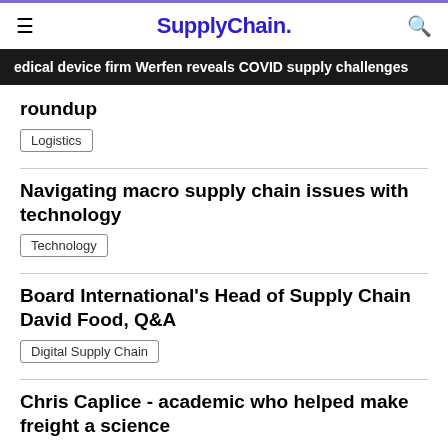SupplyChain.
edical device firm Werfen reveals COVID supply challenges
roundup
Logistics
Navigating macro supply chain issues with technology
Technology
Board International's Head of Supply Chain David Food, Q&A
Digital Supply Chain
Chris Caplice - academic who helped make freight a science